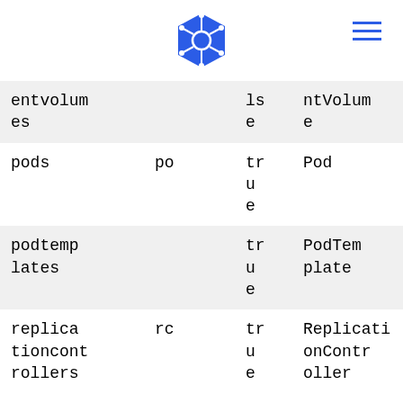[Figure (logo): Kubernetes logo - blue hexagonal ship wheel icon]
| entvolumes |  | lse | ntVolume |
| pods | po | true | Pod |
| podtemplates |  | true | PodTemplate |
| replicationcontrollers | rc | true | ReplicationController |